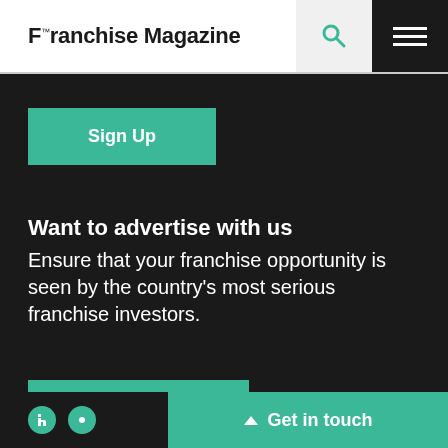Franchise Magazine
Sign Up
Want to advertise with us
Ensure that your franchise opportunity is seen by the country's most serious franchise investors.
Advertise with us
Get in touch